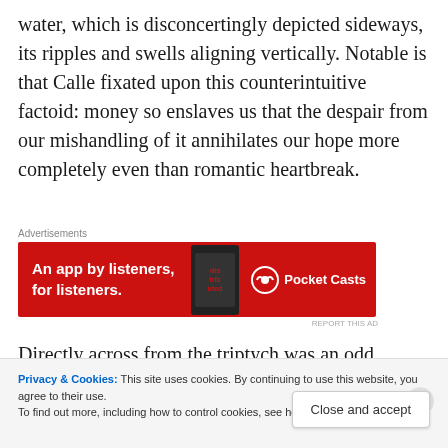water, which is disconcertingly depicted sideways, its ripples and swells aligning vertically. Notable is that Calle fixated upon this counterintuitive factoid: money so enslaves us that the despair from our mishandling of it annihilates our hope more completely even than romantic heartbreak.
[Figure (other): Pocket Casts advertisement banner. Red background with text 'An app by listeners, for listeners.' and Pocket Casts logo. Shows a smartphone on the right side with 'distributed' text overlay.]
Directly across from the triptych was an odd, unassuming
Privacy & Cookies: This site uses cookies. By continuing to use this website, you agree to their use.
To find out more, including how to control cookies, see here: Cookie Policy